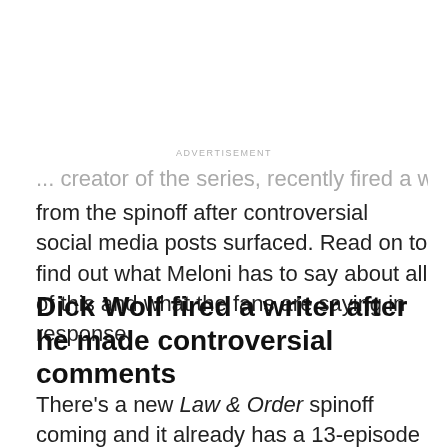... creator of the series, recently fired a writer from the spinoff after controversial social media posts surfaced. Read on to find out what Meloni has to say about all of this and what the fans are saying in response.
Dick Wolf fired a writer after he made controversial comments
There's a new Law & Order spinoff coming and it already has a 13-episode order. Meloni will be back as Detective Stabler and fans are